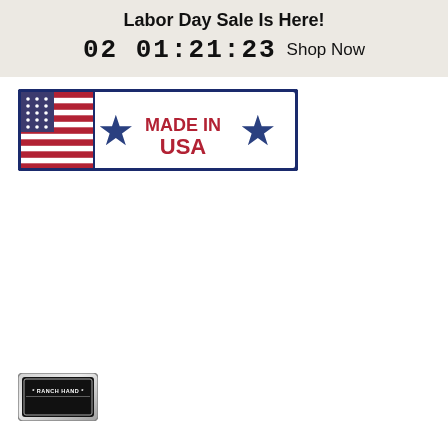Labor Day Sale Is Here!
02 01:21:23 Shop Now
[Figure (logo): Made in USA badge with American flag on left side, two blue stars, and red 'MADE IN USA' text on white background with dark blue border]
[Figure (logo): Ranch Hand logo badge with silver metallic border and black background, text reads '* RANCH HAND *']